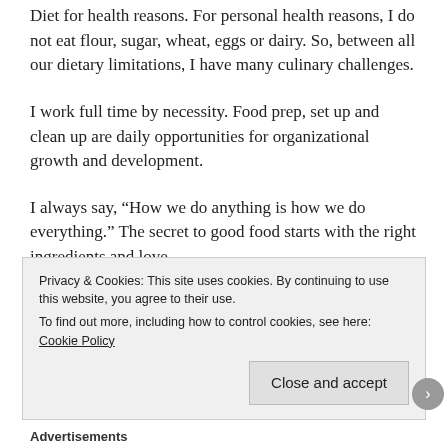Diet for health reasons. For personal health reasons, I do not eat flour, sugar, wheat, eggs or dairy. So, between all our dietary limitations, I have many culinary challenges.
I work full time by necessity. Food prep, set up and clean up are daily opportunities for organizational growth and development.
I always say, “How we do anything is how we do everything.” The secret to good food starts with the right ingredients and love.
I also believe that our thoughts are very powerful. So, I pray while I cook, and set my intentions on positive and loving
Privacy & Cookies: This site uses cookies. By continuing to use this website, you agree to their use.
To find out more, including how to control cookies, see here: Cookie Policy
Close and accept
Advertisements